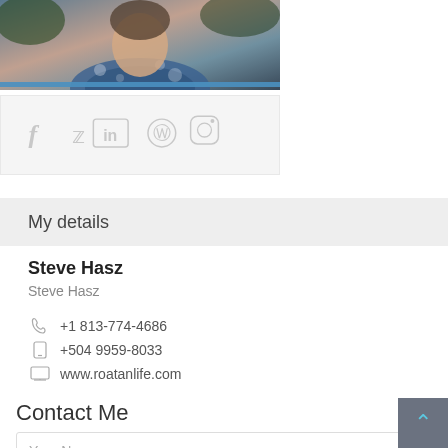[Figure (photo): Cropped photo of a person wearing a blue floral shirt, outdoors with greenery in background]
[Figure (infographic): Social media icons bar showing Facebook, Twitter, LinkedIn, Pinterest, and Instagram icons in light gray on a light background]
My details
Steve Hasz
Steve Hasz
+1 813-774-4686
+504 9959-8033
www.roatanlife.com
Contact Me
Your Name